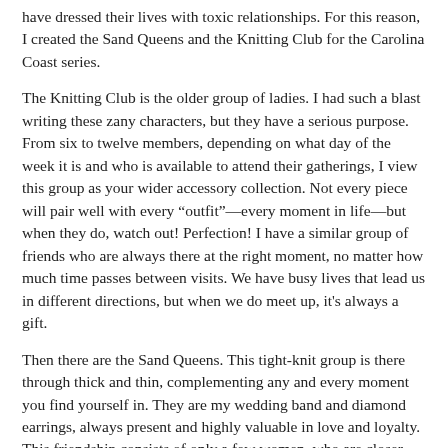have dressed their lives with toxic relationships. For this reason, I created the Sand Queens and the Knitting Club for the Carolina Coast series.
The Knitting Club is the older group of ladies. I had such a blast writing these zany characters, but they have a serious purpose. From six to twelve members, depending on what day of the week it is and who is available to attend their gatherings, I view this group as your wider accessory collection. Not every piece will pair well with every “outfit”—every moment in life—but when they do, watch out! Perfection! I have a similar group of friends who are always there at the right moment, no matter how much time passes between visits. We have busy lives that lead us in different directions, but when we do meet up, it's always a gift.
Then there are the Sand Queens. This tight-knit group is there through thick and thin, complementing any and every moment you find yourself in. They are my wedding band and diamond earrings, always present and highly valuable in love and loyalty. This friendship consists of only a few women, who are closer than sisters. In this series, you will see how